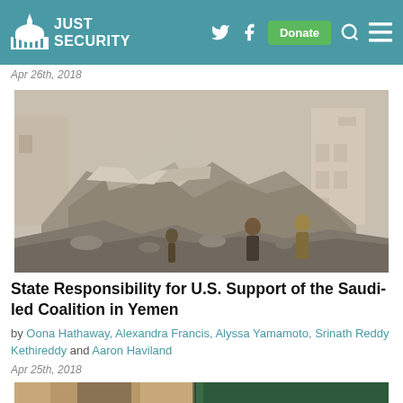Just Security
Apr 26th, 2018
[Figure (photo): Rubble of a bombed/destroyed building with people standing in front of the debris]
State Responsibility for U.S. Support of the Saudi-led Coalition in Yemen
by Oona Hathaway, Alexandra Francis, Alyssa Yamamoto, Srinath Reddy Kethireddy and Aaron Haviland
Apr 25th, 2018
[Figure (photo): Partial view of a person at bottom of page]